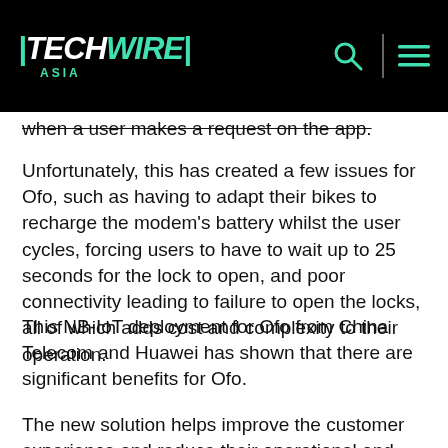TECHWIRE ASIA
when a user makes a request on the app.
Unfortunately, this has created a few issues for Ofo, such as having to adapt their bikes to recharge the modem's battery whilst the user cycles, forcing users to have to wait up to 25 seconds for the lock to open, and poor connectivity leading to failure to open the locks, all of which adds cost and complexity to their operation.
This NB-IoT deployment for Ofo from China Telecom and Huawei has shown that there are significant benefits for Ofo.
The new solution helps improve the customer experience and reduce their operational and